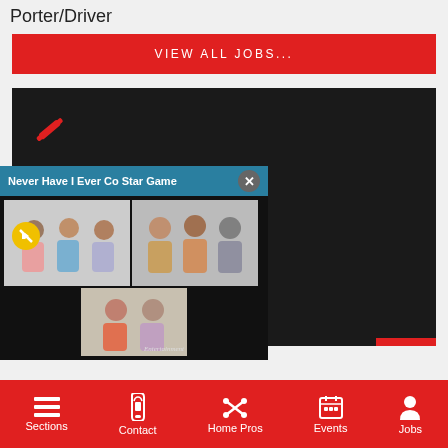Porter/Driver
VIEW ALL JOBS...
[Figure (screenshot): Dark card with wrench icon and Home Pros heading, overlaid by a video popup titled 'Never Have I Ever Co Star Game' showing cast members in three thumbnail panels]
Sections  Contact  Home Pros  Events  Jobs